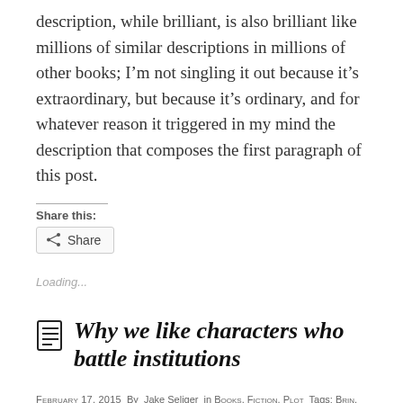description, while brilliant, is also brilliant like millions of similar descriptions in millions of other books; I'm not singling it out because it's extraordinary, but because it's ordinary, and for whatever reason it triggered in my mind the description that composes the first paragraph of this post.
Share this:
Share
Loading...
Why we like characters who battle institutions
February 17, 2015  By  Jake Seliger  in  Books, Fiction, Plot  Tags: BRIN,